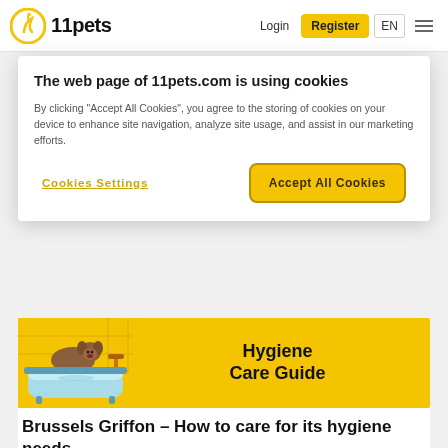11pets — Login | Register | EN
The web page of 11pets.com is using cookies
By clicking “Accept All Cookies”, you agree to the storing of cookies on your device to enhance site navigation, analyze site usage, and assist in our marketing efforts.
Cookies Settings | Accept All Cookies
[Figure (illustration): Yellow banner with illustration of a dog in a bathtub and text 'Hygiene Care Guide']
Brussels Griffon – How to care for its hygiene needs
Scroll down to continue with content...